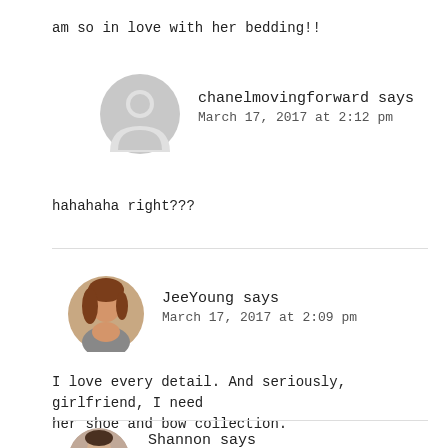am so in love with her bedding!!
[Figure (illustration): Gray default avatar circle icon for chanelmovingforward]
chanelmovingforward says
March 17, 2017 at 2:12 pm
hahahaha right???
[Figure (photo): Circular profile photo of JeeYoung, a woman with brown/auburn hair]
JeeYoung says
March 17, 2017 at 2:09 pm
I love every detail. And seriously, girlfriend, I need her shoe and bow collection.
[Figure (photo): Circular profile photo of Shannon, partially visible at bottom]